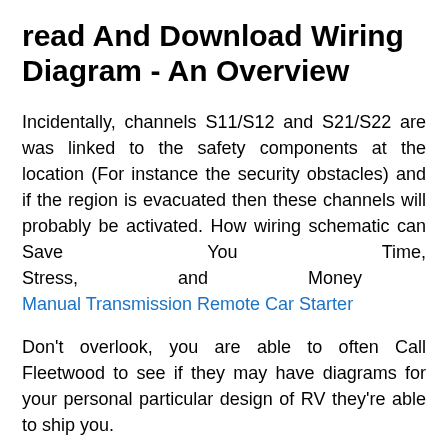read And Download Wiring Diagram - An Overview
Incidentally, channels S11/S12 and S21/S22 are was linked to the safety components at the location (For instance the security obstacles) and if the region is evacuated then these channels will probably be activated. How wiring schematic can Save You Time, Stress,                    and                    Money Manual Transmission Remote Car Starter
Don't overlook, you are able to often Call Fleetwood to see if they may have diagrams for your personal particular design of RV they're able to ship you.
wiring                    schematic                    Secrets Samsung Remote Control Bn59 Manual ,  So being an exception, we must always start out with the draw back and this is where the a few-stage electricity